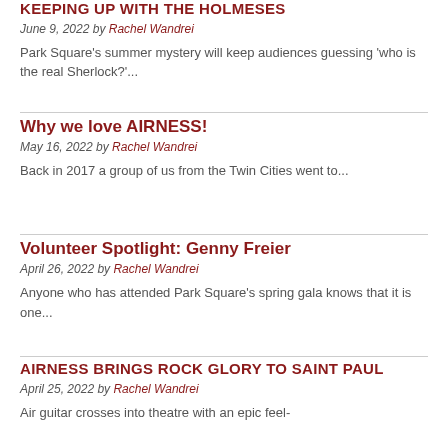KEEPING UP WITH THE HOLMESES
June 9, 2022 by Rachel Wandrei
Park Square's summer mystery will keep audiences guessing 'who is the real Sherlock?'...
Why we love AIRNESS!
May 16, 2022 by Rachel Wandrei
Back in 2017 a group of us from the Twin Cities went to...
Volunteer Spotlight: Genny Freier
April 26, 2022 by Rachel Wandrei
Anyone who has attended Park Square's spring gala knows that it is one...
AIRNESS BRINGS ROCK GLORY TO SAINT PAUL
April 25, 2022 by Rachel Wandrei
Air guitar crosses into theatre with an epic feel-